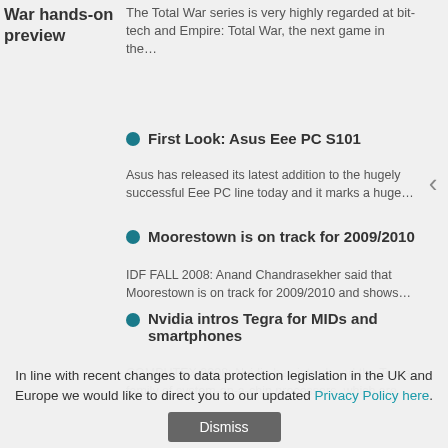War hands-on preview
The Total War series is very highly regarded at bit-tech and Empire: Total War, the next game in the...
First Look: Asus Eee PC S101
Asus has released its latest addition to the hugely successful Eee PC line today and it marks a huge...
Moorestown is on track for 2009/2010
IDF FALL 2008: Anand Chandrasekher said that Moorestown is on track for 2009/2010 and shows...
Nvidia intros Tegra for MIDs and smartphones
COMPUTEX 2008: Nvidia has introduced the Tegra family of system-on-a-chip processors, which are...
In line with recent changes to data protection legislation in the UK and Europe we would like to direct you to our updated Privacy Policy here.
Dismiss